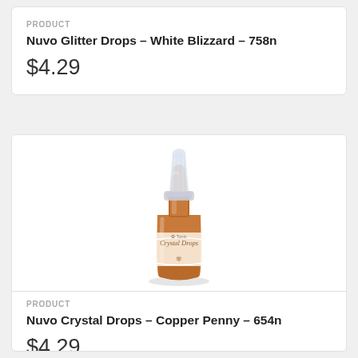PRODUCT
Nuvo Glitter Drops – White Blizzard – 758n
$4.29
[Figure (photo): A small copper/bronze colored dropper bottle with a clear faceted cap, labeled Crystal Drops, sitting on a white surface.]
PRODUCT
Nuvo Crystal Drops – Copper Penny – 654n
$4.29